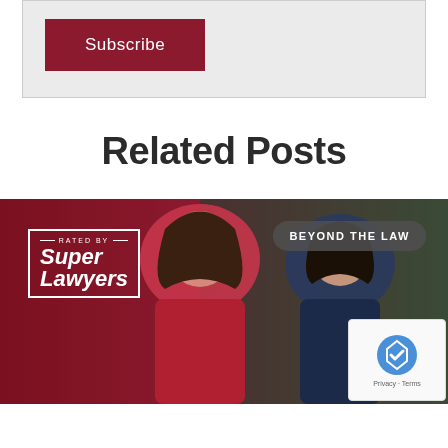Subscribe
Related Posts
[Figure (photo): Two female lawyers smiling, with a 'Rated by Super Lawyers' badge overlay on the left and a 'BEYOND THE LAW' tag on the upper right]